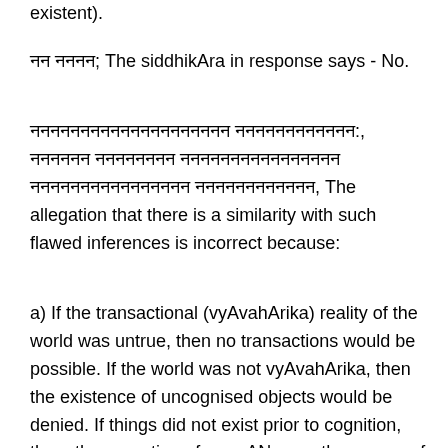existent).
नन नननन; The siddhikAra in response says - No.
नननननननननननननननननननन नननननननननननन:, नननननन नननननननन नननननननननननननननन नननननननननननननननन नननननननननननन, The allegation that there is a similarity with such flawed inferences is incorrect because:
a) If the transactional (vyAvahArika) reality of the world was untrue, then no transactions would be possible. If the world was not vyAvahArika, then the existence of uncognised objects would be denied. If things did not exist prior to cognition, then, the operation of pramANas, or the means of knowledge,